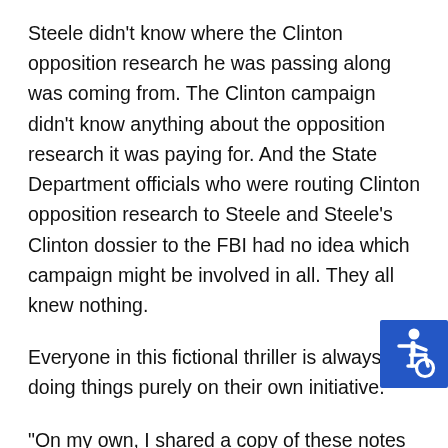Steele didn't know where the Clinton opposition research he was passing along was coming from. The Clinton campaign didn't know anything about the opposition research it was paying for. And the State Department officials who were routing Clinton opposition research to Steele and Steele's Clinton dossier to the FBI had no idea which campaign might be involved in all. They all knew nothing.

Everyone in this fictional thriller is always doing things purely on their own initiative.

"On my own, I shared a copy of these notes with
[Figure (illustration): Accessibility icon: white wheelchair user symbol on blue square background]